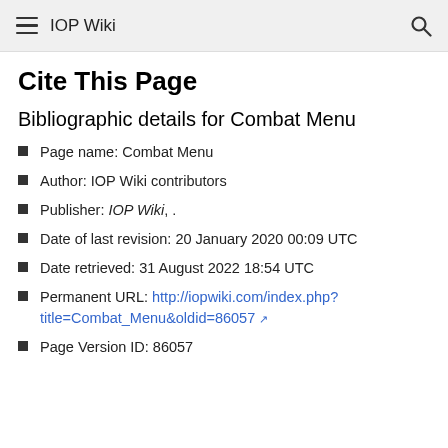IOP Wiki
Cite This Page
Bibliographic details for Combat Menu
Page name: Combat Menu
Author: IOP Wiki contributors
Publisher: IOP Wiki, .
Date of last revision: 20 January 2020 00:09 UTC
Date retrieved: 31 August 2022 18:54 UTC
Permanent URL: http://iopwiki.com/index.php?title=Combat_Menu&oldid=86057
Page Version ID: 86057